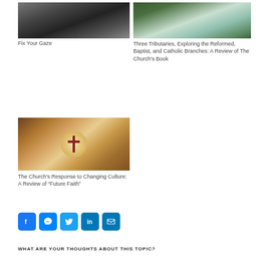[Figure (photo): Black and white photo of an older man covering his face with his hand, looking distressed]
Fix Your Gaze
[Figure (photo): Photo of a waterfall flowing over green mossy rocks]
Three Tributaries, Exploring the Reformed, Baptist, and Catholic Branches: A Review of The Church's Book
[Figure (photo): Photo of a coffee mug with a cross design in the foam, surrounded by wooden elements]
The Church's Response to Changing Culture: A Review of "Future Faith"
WHAT ARE YOUR THOUGHTS ABOUT THIS TOPIC?